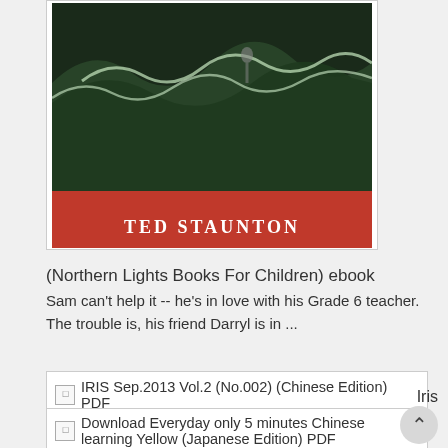[Figure (illustration): Book cover for a children's book by Ted Staunton, red background with wave/nature imagery, author name 'TED STAUNTON' in white text at bottom]
(Northern Lights Books For Children) ebook
Sam can't help it -- he's in love with his Grade 6 teacher. The trouble is, his friend Darryl is in ...
[Figure (illustration): Broken image placeholder for IRIS Sep.2013 Vol.2 (No.002) (Chinese Edition) PDF]
Iris Sep.2013 Vol.2 (No.002) (Chinese Edition) pdf epub
IRIS Magazine is published fortnightly in Chinese. Featuring a unique insight into the changing worl...
[Figure (illustration): Broken image placeholder for Download Everyday only 5 minutes Chinese learning Yellow (Japanese Edition) PDF]